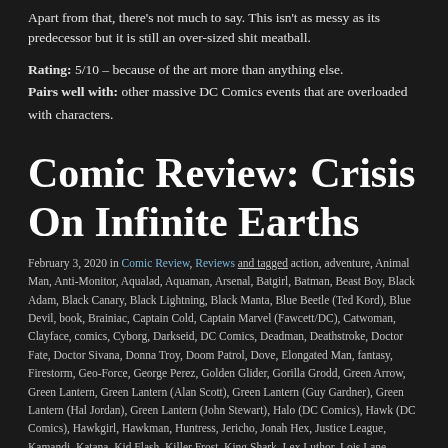Apart from that, there's not much to say. This isn't as messy as its predecessor but it is still an over-sized shit meatball.
Rating: 5/10 – because of the art more than anything else.
Pairs well with: other massive DC Comics events that are overloaded with characters.
Comic Review: Crisis On Infinite Earths
February 3, 2020 in Comic Review, Reviews and tagged action, adventure, Animal Man, Anti-Monitor, Aqualad, Aquaman, Arsenal, Batgirl, Batman, Beast Boy, Black Adam, Black Canary, Black Lightning, Black Manta, Blue Beetle (Ted Kord), Blue Devil, book, Brainiac, Captain Cold, Captain Marvel (Fawcett/DC), Catwoman, Clayface, comics, Cyborg, Darkseid, DC Comics, Deadman, Deathstroke, Doctor Fate, Doctor Sivana, Donna Troy, Doom Patrol, Dove, Elongated Man, fantasy, Firestorm, Geo-Force, George Perez, Golden Glider, Gorilla Grodd, Green Arrow, Green Lantern, Green Lantern (Alan Scott), Green Lantern (Guy Gardner), Green Lantern (Hal Jordan), Green Lantern (John Stewart), Halo (DC Comics), Hawk (DC Comics), Hawkgirl, Hawkman, Huntress, Jericho, Jonah Hex, Justice League, Kamandi, Katana, Kid Flash, Killer Frost, King Shark, Lex Luthor, Lois Lane, Martian